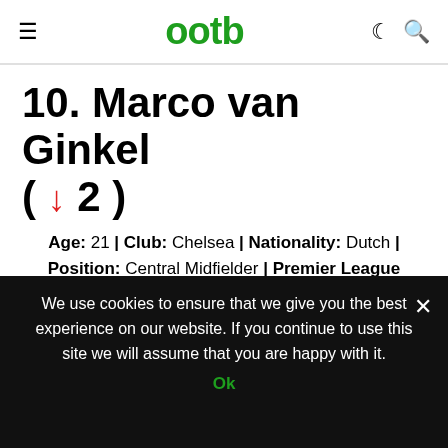ootb
10. Marco van Ginkel ( ↓2 )
Age: 21 | Club: Chelsea | Nationality: Dutch | Position: Central Midfielder | Premier League Appearances: 2
The young Dutch midfielder...
We use cookies to ensure that we give you the best experience on our website. If you continue to use this site we will assume that you are happy with it. Ok